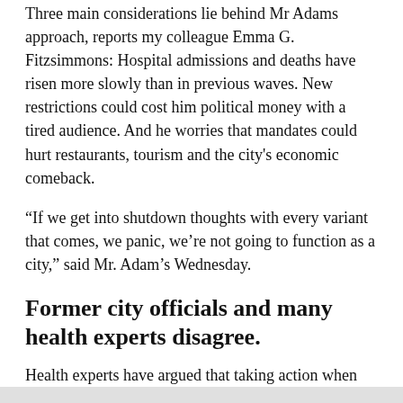Three main considerations lie behind Mr Adams approach, reports my colleague Emma G. Fitzsimmons: Hospital admissions and deaths have risen more slowly than in previous waves. New restrictions could cost him political money with a tired audience. And he worries that mandates could hurt restaurants, tourism and the city’s economic comeback.
“If we get into shutdown thoughts with every variant that comes, we panic, we’re not going to function as a city,” said Mr. Adam’s Wednesday.
Former city officials and many health experts disagree.
Health experts have argued that taking action when hospitals and health professionals are overwhelmed or on the brink – as Mr. Adams says he would – would be too